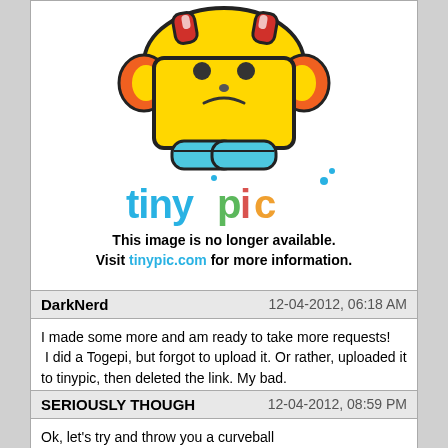[Figure (screenshot): Tinypic placeholder image showing a cartoon trophy character with sad face and the tinypic logo, with text 'This image is no longer available. Visit tinypic.com for more information.']
Sorry took so long, busy with schoolwork. Cleared now though. I love how these two came out.
DarkNerd    12-04-2012, 06:18 AM
I made some more and am ready to take more requests!
 I did a Togepi, but forgot to upload it. Or rather, uploaded it to tinypic, then deleted the link. My bad.
SERIOUSLY THOUGH    12-04-2012, 08:59 PM
Ok, let's try and throw you a curveball

I would like a Third-Bulbazaur, Thid-Ninetails, Third Mewtwo super-